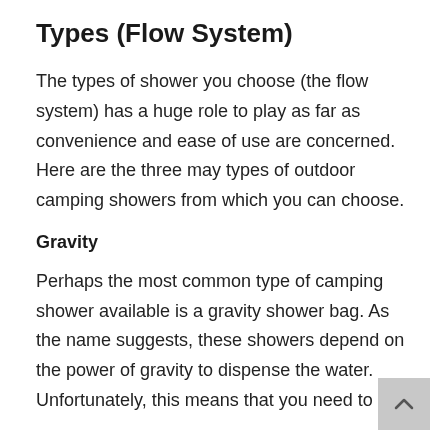Types (Flow System)
The types of shower you choose (the flow system) has a huge role to play as far as convenience and ease of use are concerned. Here are the three may types of outdoor camping showers from which you can choose.
Gravity
Perhaps the most common type of camping shower available is a gravity shower bag. As the name suggests, these showers depend on the power of gravity to dispense the water. Unfortunately, this means that you need to